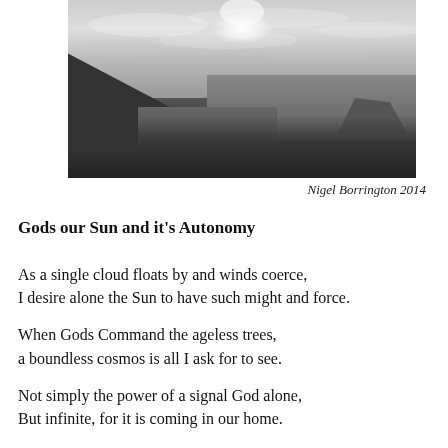[Figure (photo): Black and white photograph of a coastal beach scene with dramatic cloudy sky, sun glowing through clouds, a sandy/rocky shoreline on the left, calm water reflecting light in the middle, and distant hills or islands on the right.]
Nigel Borrington 2014
Gods our Sun and it's Autonomy
As a single cloud floats by and winds coerce,
I desire alone the Sun to have such might and force.
When Gods Command the ageless trees,
a boundless cosmos is all I ask for to see.
Not simply the power of a signal God alone,
But infinite, for it is coming in our home.